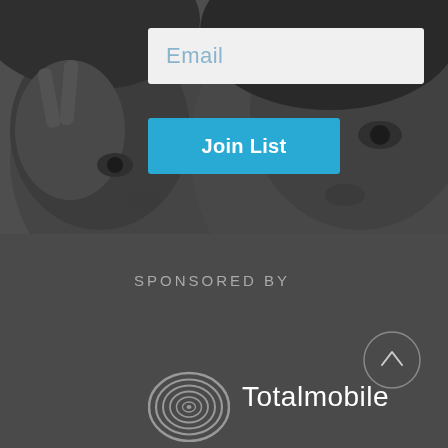[Figure (photo): Black and white photo of two children's faces close together, one making a peace sign with their hand]
Email
Join List
SPONSORED BY
[Figure (logo): Totalmobile logo with concentric spiral circles icon and the word 'Totalmobile' in white text]
[Figure (other): Scroll-to-top button: circle with upward arrow]